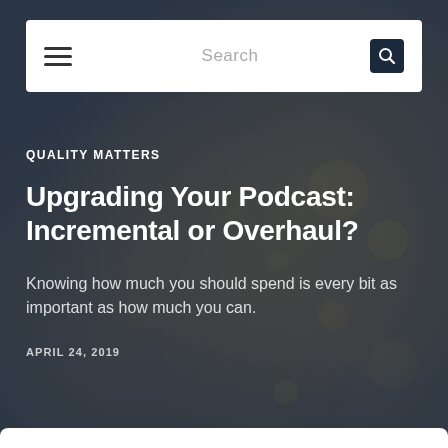Search
QUALITY MATTERS
Upgrading Your Podcast: Incremental or Overhaul?
Knowing how much you should spend is every bit as important as how much you can.
APRIL 24, 2019